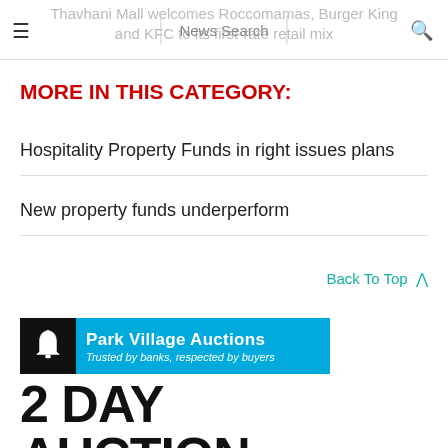Thavhani Mall welcomes Roccomamas, Burger King and KFC to its first-rate retail mix | News Search
MORE IN THIS CATEGORY:
Hospitality Property Funds in right issues plans
New property funds underperform
Back To Top ^
[Figure (logo): Park Village Auctions logo — bell icon on black background, Park Village Auctions text on blue background, tagline: Trusted by banks, respected by buyers. Below: 2 DAY AUCTION text in large bold black.]